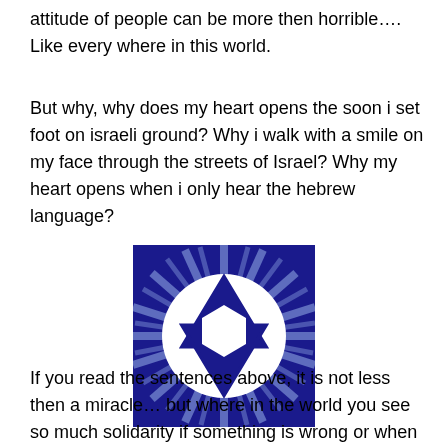attitude of people can be more then horrible…. Like every where in this world.
But why, why does my heart opens the soon i set foot on israeli ground? Why i walk with a smile on my face through the streets of Israel? Why my heart opens when i only hear the hebrew language?
[Figure (illustration): A dark navy blue square containing a white circle with a Star of David (Magen David) in dark blue, surrounded by radiating light rays in the background.]
If you read the sentences above, it is not less then a miracle… but where in the world you see so much solidarity if something is wrong or when the country or